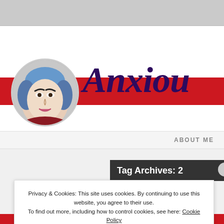[Figure (screenshot): Blog website header screenshot showing a circular portrait photo of a woman wearing a blue hair accessory, large italic dark purple blog title text reading 'Anxiou' (cropped), red banner with white italic text 'LIFESTYLE. BEAUTY. FASHION.' (cropped), nav bar with 'ABOUT ME' text, tag archives dark banner, and a cookie consent popup overlay at the bottom.]
Privacy & Cookies: This site uses cookies. By continuing to use this website, you agree to their use.
To find out more, including how to control cookies, see here: Cookie Policy
Close and accept